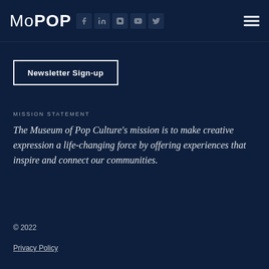MoPOP
Newsletter Sign-up
MISSION STATEMENT
The Museum of Pop Culture’s mission is to make creative expression a life-changing force by offering experiences that inspire and connect our communities.
© 2022
Privacy Policy